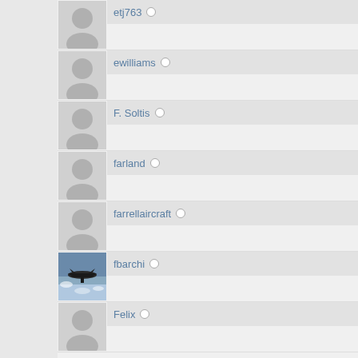etj763
ewilliams
F. Soltis
farland
farrellaircraft
fbarchi
Felix